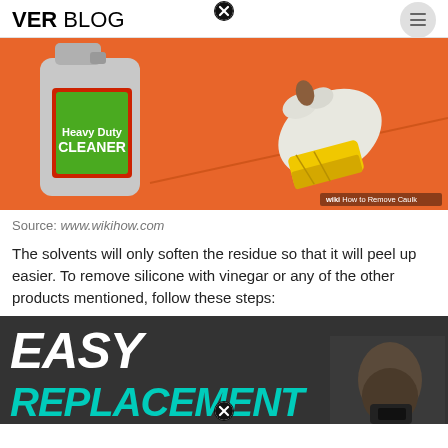VER BLOG
[Figure (illustration): WikiHow illustration showing a hand using a yellow sponge/scraper on an orange surface next to a Heavy Duty Cleaner bottle on an orange background. Watermark: wiki How to Remove Caulk]
Source: www.wikihow.com
The solvents will only soften the residue so that it will peel up easier. To remove silicone with vinegar or any of the other products mentioned, follow these steps:
[Figure (illustration): Image showing 'EASY REPLACEMENT' text in large teal/cyan bold italic font on a dark background with a hand holding a tool visible on the right side.]